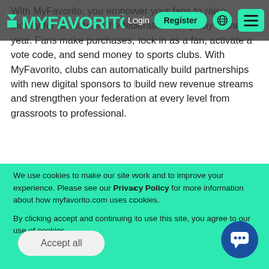Login | Register | MyFavorito (navigation bar with hamburger menu)
[Figure (logo): MyFavorito logo in teal/green color with envelope icon and trademark symbol]
With MyFavorito, you empower your fans to raise money for all clubs in the federation every day of the year. Fans make purchases, lock in as a fan, activate a vote code, and send money to sports clubs. With MyFavorito, clubs can automatically build partnerships with new digital sponsors to build new revenue streams and strengthen your federation at every level from grassroots to professional.
We use cookies to make our site work and to improve your experience. Please see our Privacy Policy for more information about how myfavorito.com uses cookies.

By clicking accept and continuing to use this site, you agree to our use of cookies.
Accept all